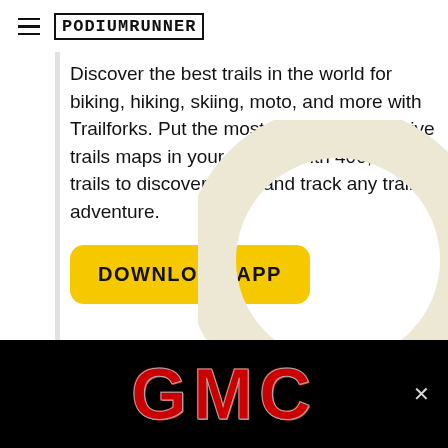PodiumRunner
Discover the best trails in the world for biking, hiking, skiing, moto, and more with Trailforks. Put the most accurate interactive trails maps in your pocket, with 400,000 trails to discover, plan, and track any trail adventure.
[Figure (other): Yellow rounded-rectangle button with bold uppercase text 'DOWNLOAD APP']
[Figure (illustration): Large decorative cream/beige circle outline (Trailforks app logo watermark) in bottom-right of content area]
[Figure (logo): GMC advertisement banner with black background and large red metallic GMC logo text, with an X close button on the right]